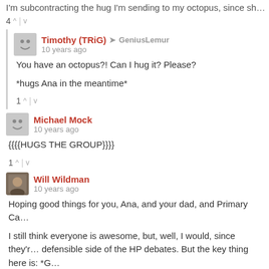I'm subcontracting the hug I'm sending to my octopus, since sh...
4 ^ | v
Timothy (TRiG) → GeniusLemur
10 years ago

You have an octopus?! Can I hug it? Please?

*hugs Ana in the meantime*

1 ^ | v
Michael Mock
10 years ago

{{{{HUGS THE GROUP}}}}

1 ^ | v
Will Wildman
10 years ago

Hoping good things for you, Ana, and your dad, and Primary Ca...

I still think everyone is awesome, but, well, I would, since they'r... defensible side of the HP debates. But the key thing here is: *G...

Also, a friend keeps on spamming me with pictures of corgi pup...